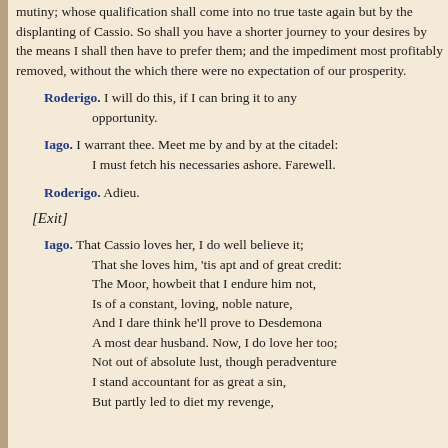mutiny; whose qualification shall come into no true taste again but by the displanting of Cassio. So shall you have a shorter journey to your desires by the means I shall then have to prefer them; and the impediment most profitably removed, without the which there were no expectation of our prosperity.
Roderigo. I will do this, if I can bring it to any opportunity.
Iago. I warrant thee. Meet me by and by at the citadel: I must fetch his necessaries ashore. Farewell.
Roderigo. Adieu.
[Exit]
Iago. That Cassio loves her, I do well believe it; That she loves him, 'tis apt and of great credit: The Moor, howbeit that I endure him not, Is of a constant, loving, noble nature, And I dare think he'll prove to Desdemona A most dear husband. Now, I do love her too; Not out of absolute lust, though peradventure I stand accountant for as great a sin, But partly led to diet my revenge,